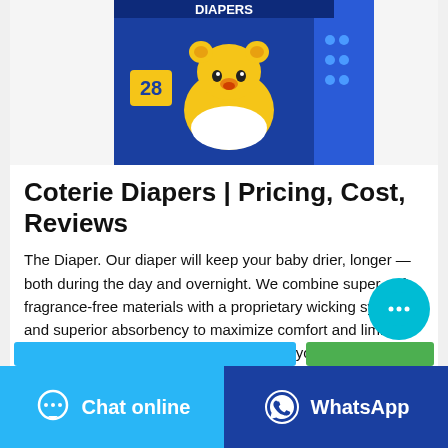[Figure (photo): Coterie diapers product box with cartoon bear mascot on blue packaging, showing '28' count, partially cropped at top]
Coterie Diapers | Pricing, Cost, Reviews
The Diaper. Our diaper will keep your baby drier, longer — both during the day and overnight. We combine super-soft, fragrance-free materials with a proprietary wicking system and superior absorbency to maximize comfort and limit leaks and blowouts. In short, it will make your whole family happier. Plus, no need for separate overnight diapers.
[Figure (screenshot): Partial blue and green action buttons visible at bottom of content area]
[Figure (infographic): Floating teal chat bubble button with three dots icon]
Chat online | WhatsApp